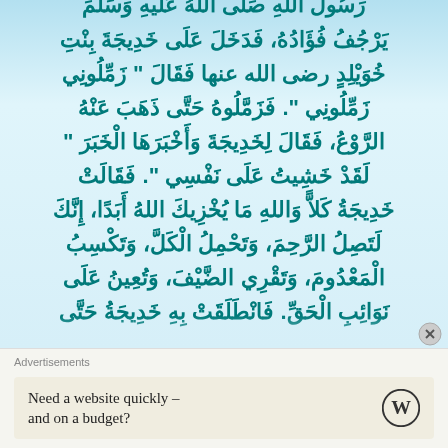رَسُولُ اللهِ صَلَّى اللهُ عَلَيهِ وَسَلَّمَ يَرْجُفُ فُؤَادُهُ، فَدَخَلَ عَلَى خَدِيجَةَ بِنْتِ خُوَيْلِدٍ رضي الله عنها فَقَالَ " زَمِّلُونِي زَمِّلُونِي ". فَزَمَّلُوهُ حَتَّى ذَهَبَ عَنْهُ الرَّوْعُ، فَقَالَ لِخَدِيجَةَ وَأَخْبَرَهَا الْخَبَرَ " لَقَدْ خَشِيتُ عَلَى نَفْسِي ". فَقَالَتْ خَدِيجَةُ كَلاًّ وَاللهِ مَا يُخْزِيكَ اللهُ أَبَدًا، إِنَّكَ لَتَصِلُ الرَّحِمَ، وَتَحْمِلُ الْكَلَّ، وَتَكْسِبُ الْمَعْدُومَ، وَتَقْرِي الضَّيْفَ، وَتُعِينُ عَلَى نَوَائِبِ الْحَقِّ. فَانْطَلَقَتْ بِهِ خَدِيجَةُ حَتَّى
Advertisements
Need a website quickly – and on a budget?